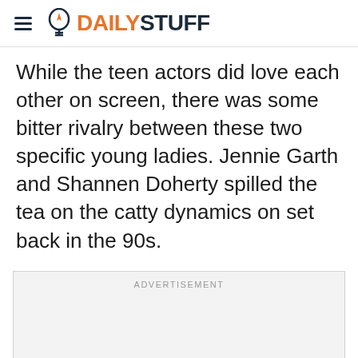DAILYSTUFF
While the teen actors did love each other on screen, there was some bitter rivalry between these two specific young ladies. Jennie Garth and Shannen Doherty spilled the tea on the catty dynamics on set back in the 90s.
[Figure (other): Advertisement placeholder box with label ADVERTISEMENT]